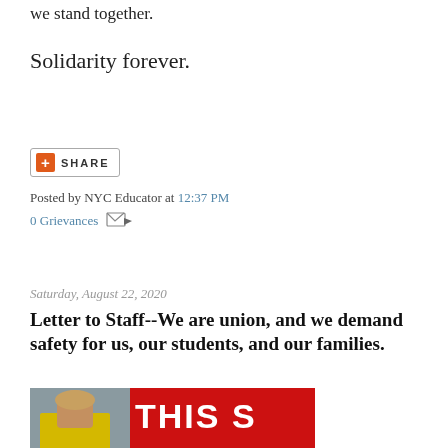we stand together.
Solidarity forever.
[Figure (screenshot): Share button with orange plus icon and uppercase SHARE text, bordered box]
Posted by NYC Educator at 12:37 PM
0 Grievances
Saturday, August 22, 2020
Letter to Staff--We are union, and we demand safety for us, our students, and our families.
[Figure (photo): A woman in a yellow vest holding papers standing in front of a large red banner reading THIS S / IS ALL (partially cropped text)]